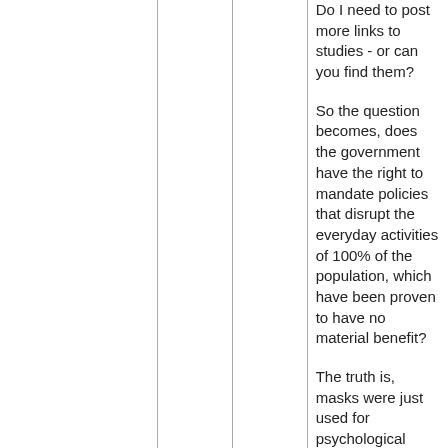Do I need to post more links to studies - or can you find them?
So the question becomes, does the government have the right to mandate policies that disrupt the everyday activities of 100% of the population, which have been proven to have no material benefit?
The truth is, masks were just used for psychological impact. Had no one been wearing a mask for the last two years, and you had no exposure to television or the internet, there would have been NOTHING in the real world you could have